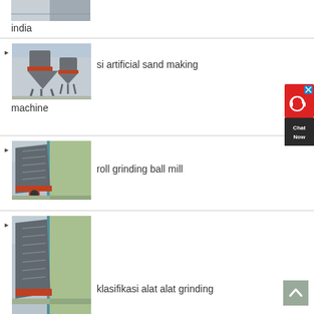[Figure (photo): Partial image of industrial machine, top of page]
india
[Figure (photo): Industrial cone crusher / sand making machine in a factory]
si artificial sand making machine
[Figure (screenshot): Chat Now button overlay in top right]
[Figure (photo): Impact crusher / roll grinding ball mill in a factory]
roll grinding ball mill
[Figure (photo): Impact crusher in factory, bottom partial image]
klasifikasi alat alat grinding